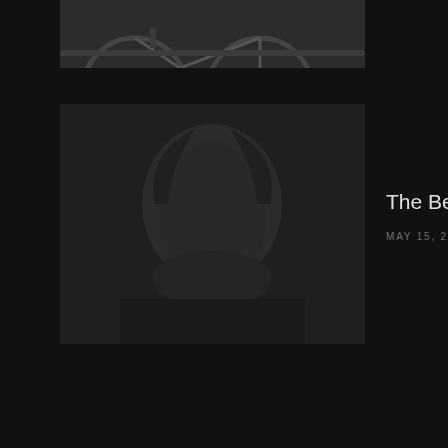[Figure (photo): Cropped top of a photo showing a bicycle wheel and person's legs on a street, partially visible at top of page]
[Figure (photo): Dark portrait photo of a person, possibly showing hairstyle, dark tones]
The Best Hairstyle Ideas
MAY 15, 2016
POPULAR POSTS
[Figure (photo): Very dark/nearly black photo, popular posts section thumbnail]
Pretty Blonde Girl
MAY 14, 2016
[Figure (photo): Partially visible photo at bottom of page, dark tones]
Everyone is Going for This New